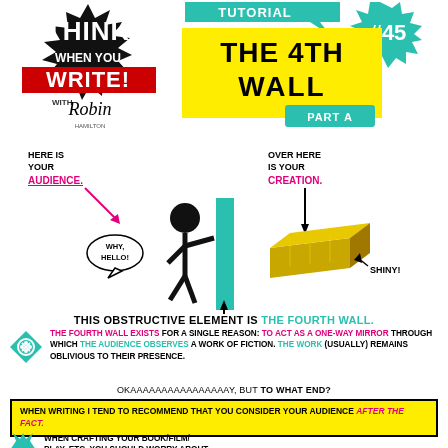HOW TO THINK WHEN YOU WRITE! with Robin TUTORIAL #45 THE 4TH WALL PART A
[Figure (illustration): Stick figure pushing against a teal vertical wall/barrier, with a gold bar on the right side. Left side shows 'HERE IS YOUR AUDIENCE.' with arrow and speech bubble 'WHY, HELLO!' Right side shows 'OVER HERE IS YOUR CREATION.' with arrow pointing to gold bar labeled 'SHINY!']
THIS OBSTRUCTIVE ELEMENT IS THE FOURTH WALL.
THE FOURTH WALL EXISTS FOR A SINGLE REASON: TO ACT AS A ONE-WAY MIRROR THROUGH WHICH THE AUDIENCE OBSERVES A WORK OF FICTION. THE WORK (USUALLY) REMAINS OBLIVIOUS TO THEIR PRESENCE.
OKAAAAAAAAAAAAAAAAY, BUT TO WHAT END?
WHEN WRITING I TEND TO RECOMMEND THAT YOU CONSIDER YOUR AUDIENCE AFTER THE FACT.
WHEN CRAFTING YOUR BOOK/FILM/PLAY, ETC, YOU SHOULD WORRY ABOUT